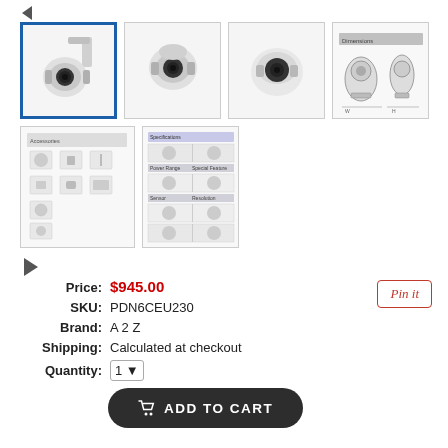[Figure (photo): PTZ security camera mounted on wall bracket, selected thumbnail with blue border]
[Figure (photo): PTZ security camera front view, angled downward]
[Figure (photo): PTZ security camera dome front view]
[Figure (engineering-diagram): Technical dimension diagram showing two views of the PTZ dome camera]
[Figure (illustration): Accessories sheet showing various mounting and accessory components in a grid layout]
[Figure (table-as-image): Specification sheet with table rows showing camera specs with small product images]
Price: $945.00
SKU: PDN6CEU230
Brand: A 2 Z
Shipping: Calculated at checkout
Quantity: 1
Pin it
ADD TO CART